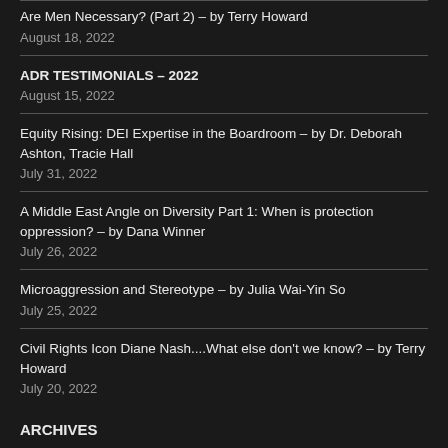Are Men Necessary? (Part 2) – by Terry Howard
August 18, 2022
ADR TESTIMONIALS – 2022
August 15, 2022
Equity Rising: DEI Expertise in the Boardroom – by Dr. Deborah Ashton, Tracie Hall
July 31, 2022
A Middle East Angle on Diversity Part 1: When is protection oppression? – by Dana Winner
July 26, 2022
Microaggression and Stereotype – by Julia Wai-Yin So
July 25, 2022
Civil Rights Icon Diane Nash....What else don't we know? – by Terry Howard
July 20, 2022
ARCHIVES